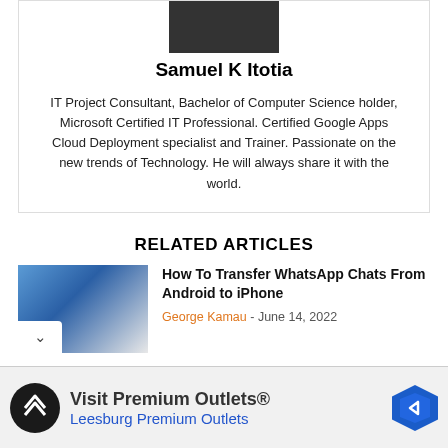[Figure (photo): Author profile photo, dark/shadowed image]
Samuel K Itotia
IT Project Consultant, Bachelor of Computer Science holder, Microsoft Certified IT Professional. Certified Google Apps Cloud Deployment specialist and Trainer. Passionate on the new trends of Technology. He will always share it with the world.
RELATED ARTICLES
[Figure (photo): Thumbnail image of WhatsApp on Android phone]
How To Transfer WhatsApp Chats From Android to iPhone
George Kamau - June 14, 2022
[Figure (other): Advertisement: Visit Premium Outlets® - Leesburg Premium Outlets with logo and navigation icon]